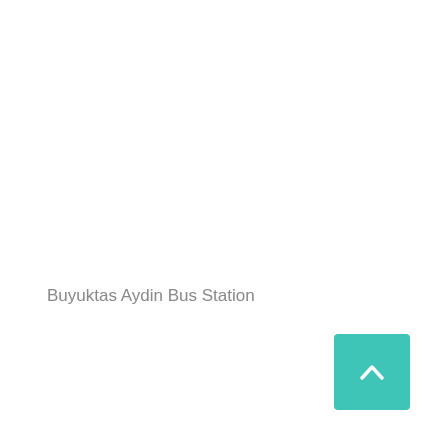Buyuktas Aydin Bus Station
[Figure (other): Teal/turquoise square button with an upward-pointing chevron arrow, positioned in the bottom-right corner of the page (back-to-top button).]